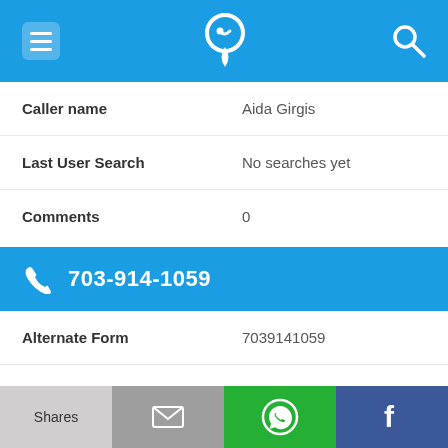[Figure (screenshot): Top navigation bar with blue background, hamburger menu icon on left, phone-pin logo in center, search icon on right]
Caller name	Aida Girgis
Last User Search	No searches yet
Comments	0
703-914-1059
Alternate Form	7039141059
Caller name	G. Copelotti
Last User Search	No searches yet
Shares | [email] | [WhatsApp] | [Facebook]